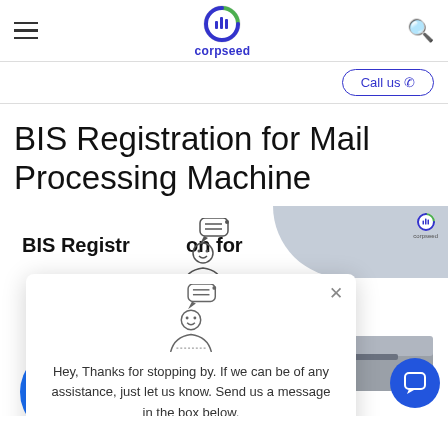corpseed
Call us
BIS Registration for Mail Processing Machine
[Figure (screenshot): Corpseed website screenshot showing BIS Registration for Mail Processing Machine page with chat popup overlay and blue decorative circles]
Hey, Thanks for stopping by. If we can be of any assistance, just let us know. Send us a message in the box below.